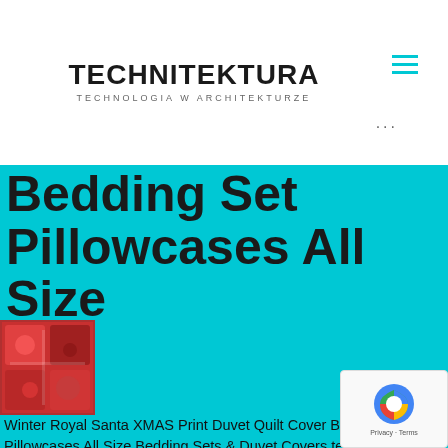TECHNITEKTURA TECHNOLOGIA W ARCHITEKTURZE
Bedding Set Pillowcases All Size
[Figure (photo): Product photo of red Christmas bedding set with Santa print]
Winter Royal Santa XMAS Print Duvet Quilt Cover Bedding Set Pillowcases All Size Bedding Sets & Duvet Covers technitektura.pl, Because we do not compromise on the quality of the item It features a photographic print of Santa designed with Percale Microfiber Technology Microfiber Percale Christmas Duvet Quilt Cover Set Best Item For Gifts on Christmas to your loved ones Good products online NOW the best shopping experience that you deserve!, To ensure convenient and sincere service! Winter Royal Santa XMAS Print Duvet Quilt Cover Bedding Set Pillowcases All Size Sell & More Promotion